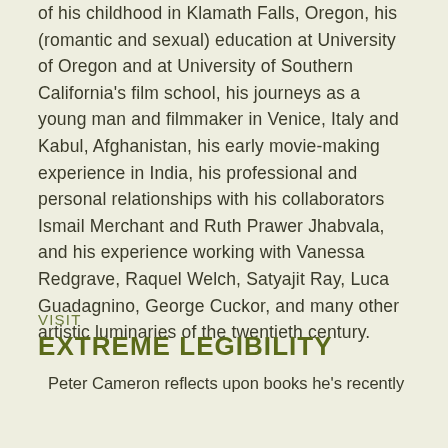of his childhood in Klamath Falls, Oregon, his (romantic and sexual) education at University of Oregon and at University of Southern California's film school, his journeys as a young man and filmmaker in Venice, Italy and Kabul, Afghanistan, his early movie-making experience in India, his professional and personal relationships with his collaborators Ismail Merchant and Ruth Prawer Jhabvala, and his experience working with Vanessa Redgrave, Raquel Welch, Satyajit Ray, Luca Guadagnino, George Cuckor, and many other artistic luminaries of the twentieth century.
VISIT
EXTREME LEGIBILITY
Peter Cameron reflects upon books he's recently